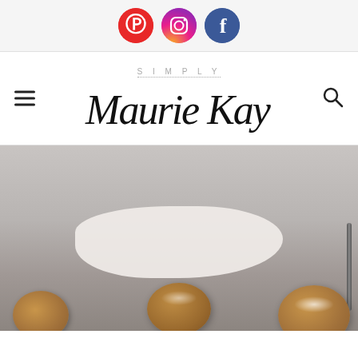[Figure (logo): Social media icons: Pinterest (red circle with P), Instagram (gradient circle with camera), Facebook (blue circle with f)]
[Figure (logo): Simply Maurie Kay blog logo with hamburger menu on left and search icon on right]
[Figure (photo): Close-up photo of brown sugar-dusted cookies on a white cloth, some on a dark baking tray]